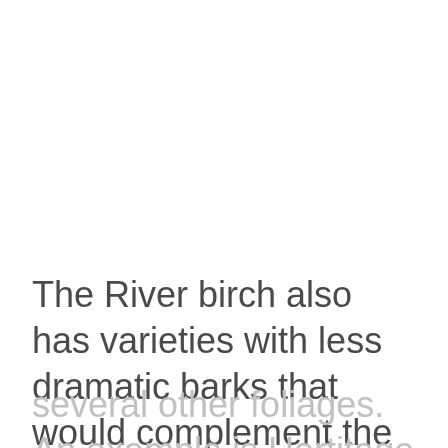The River birch also has varieties with less dramatic barks that would complement the colors of several other foliages. An example is Hertitage which has a lighter